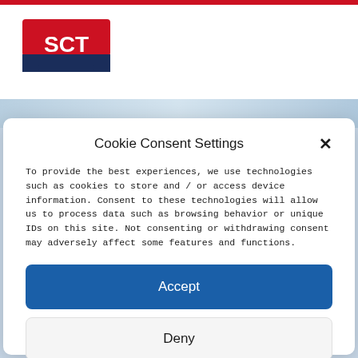[Figure (logo): SCT logo - red and dark blue rectangular logo with white text 'SCT']
Cookie Consent Settings
To provide the best experiences, we use technologies such as cookies to store and / or access device information. Consent to these technologies will allow us to process data such as browsing behavior or unique IDs on this site. Not consenting or withdrawing consent may adversely affect some features and functions.
Accept
Deny
Views preferences
Cookies   Privacy